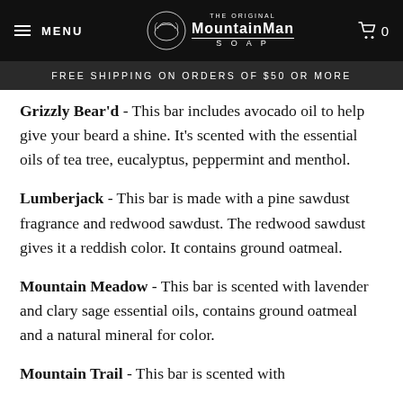MENU | THE ORIGINAL MOUNTAINMAN SOAP | Cart 0
FREE SHIPPING ON ORDERS OF $50 OR MORE
Grizzly Bear'd - This bar includes avocado oil to help give your beard a shine. It's scented with the essential oils of tea tree, eucalyptus, peppermint and menthol.
Lumberjack - This bar is made with a pine sawdust fragrance and redwood sawdust. The redwood sawdust gives it a reddish color. It contains ground oatmeal.
Mountain Meadow - This bar is scented with lavender and clary sage essential oils, contains ground oatmeal and a natural mineral for color.
Mountain Trail - This bar is scented with